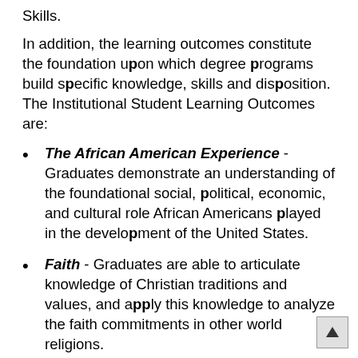Skills.
In addition, the learning outcomes constitute the foundation upon which degree programs build specific knowledge, skills and disposition.  The Institutional Student Learning Outcomes are:
The African American Experience - Graduates demonstrate an understanding of the foundational social, political, economic, and cultural role African Americans played in the development of the United States.
Faith - Graduates are able to articulate knowledge of Christian traditions and values, and apply this knowledge to analyze the faith commitments in other world religions.
Reasoning - Graduates are able to reason, analyze, and think critically to solve complex problems quantitatively and scientifically in the...